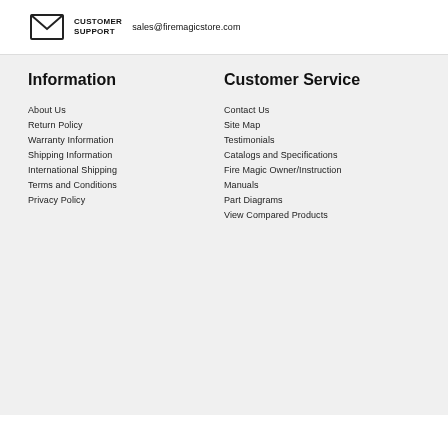CUSTOMER SUPPORT   sales@firemagicstore.com
Information
About Us
Return Policy
Warranty Information
Shipping Information
International Shipping
Terms and Conditions
Privacy Policy
Customer Service
Contact Us
Site Map
Testimonials
Catalogs and Specifications
Fire Magic Owner/Instruction Manuals
Part Diagrams
View Compared Products